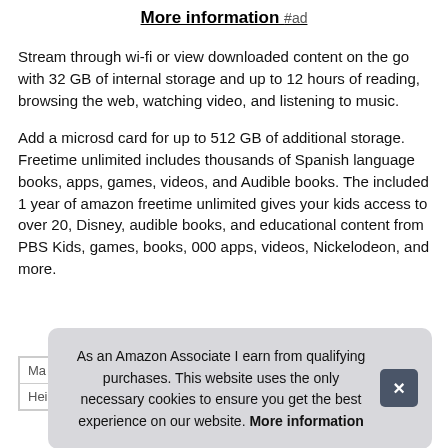More information #ad
Stream through wi-fi or view downloaded content on the go with 32 GB of internal storage and up to 12 hours of reading, browsing the web, watching video, and listening to music.
Add a microsd card for up to 512 GB of additional storage. Freetime unlimited includes thousands of Spanish language books, apps, games, videos, and Audible books. The included 1 year of amazon freetime unlimited gives your kids access to over 20, Disney, audible books, and educational content from PBS Kids, games, books, 000 apps, videos, Nickelodeon, and more.
| Ma |  |
| Height | 0.59 inches |
As an Amazon Associate I earn from qualifying purchases. This website uses the only necessary cookies to ensure you get the best experience on our website. More information